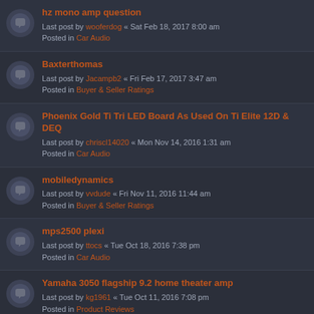hz mono amp question
Last post by wooferdog « Sat Feb 18, 2017 8:00 am
Posted in Car Audio
Baxterthomas
Last post by Jacampb2 « Fri Feb 17, 2017 3:47 am
Posted in Buyer & Seller Ratings
Phoenix Gold Ti Tri LED Board As Used On Ti Elite 12D & DEQ
Last post by chriscl14020 « Mon Nov 14, 2016 1:31 am
Posted in Car Audio
mobiledynamics
Last post by vvdude « Fri Nov 11, 2016 11:44 am
Posted in Buyer & Seller Ratings
mps2500 plexi
Last post by ttocs « Tue Oct 18, 2016 7:38 pm
Posted in Car Audio
Yamaha 3050 flagship 9.2 home theater amp
Last post by kg1961 « Tue Oct 11, 2016 7:08 pm
Posted in Product Reviews
Old Car Audio magazines that you probably didn't even know..
Last post by KillerBox « Tue Oct 11, 2016 11:42 am
Posted in Car Audio
roadster dimensions
Last post by ttocs « Thu Mar 20, 2016 6:31 am